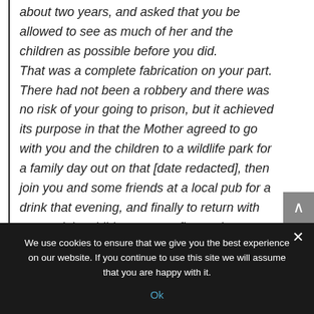about two years, and asked that you be allowed to see as much of her and the children as possible before you did. That was a complete fabrication on your part. There had not been a robbery and there was no risk of your going to prison, but it achieved its purpose in that the Mother agreed to go with you and the children to a wildlife park for a family day out on that [date redacted], then join you and some friends at a local pub for a drink that evening, and finally to return with you and the children to your flat at about
We use cookies to ensure that we give you the best experience on our website. If you continue to use this site we will assume that you are happy with it.
Ok